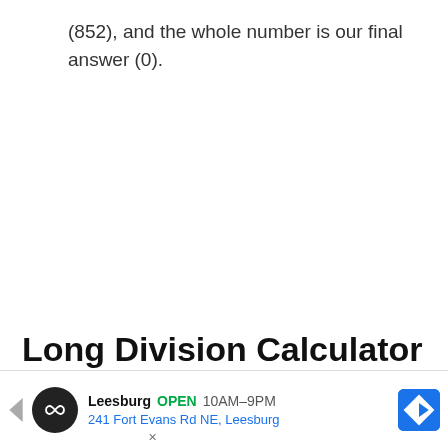(852), and the whole number is our final answer (0).
Long Division Calculator
[Figure (other): Advertisement banner for a Leesburg store: logo, 'Leesburg OPEN 10AM–9PM', '241 Fort Evans Rd NE, Leesburg', navigation icon]